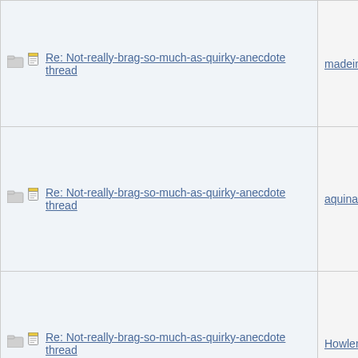| Thread | Author |
| --- | --- |
| Re: Not-really-brag-so-much-as-quirky-anecdote thread | madeinuk |
| Re: Not-really-brag-so-much-as-quirky-anecdote thread | aquinas |
| Re: Not-really-brag-so-much-as-quirky-anecdote thread | HowlerKa... |
| Re: Not-really-brag-so-much-as-quirky-anecdote thread | aquinas |
| Re: Not-really-brag-so-much-as-quirky-anecdote thread | aquinas |
| Re: Not-really-brag-so-much-as-quirky-anecdote thread | HowlerKa... |
| Re: Not-really-brag-so-much-as-quirky-anecdote thread | 1frugalmo... |